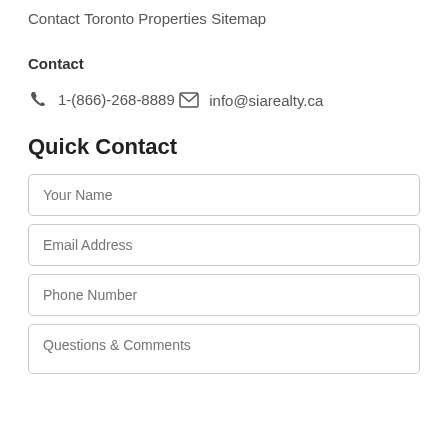Contact
Toronto Properties
Sitemap
Contact
1-(866)-268-8889
info@siarealty.ca
Quick Contact
Your Name
Email Address
Phone Number
Questions & Comments